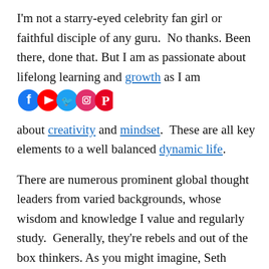I'm not a starry-eyed celebrity fan girl or faithful disciple of any guru.  No thanks. Been there, done that. But I am as passionate about lifelong learning and growth as I am about creativity and mindset.  These are all key elements to a well balanced dynamic life.
[Figure (infographic): Social media icons: Facebook (blue circle with f), YouTube (red circle with play button), Twitter (blue circle with bird), Instagram (pink/purple circle with camera), Pinterest (red circle with P)]
There are numerous prominent global thought leaders from varied backgrounds, whose wisdom and knowledge I value and regularly study.  Generally, they're rebels and out of the box thinkers. As you might imagine, Seth Godin is definitely at the top of the box…